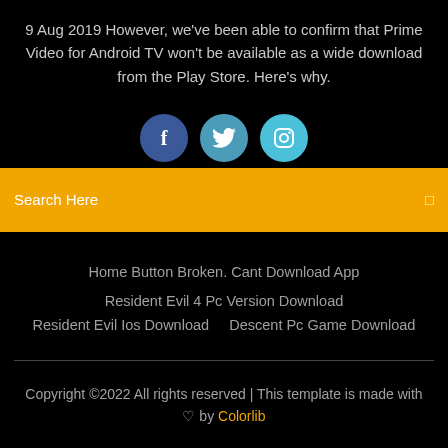9 Aug 2019 However, we've been able to confirm that Prime Video for Android TV won't be available as a wide download from the Play Store. Here's why.
[Figure (other): Three social media icon buttons: Facebook (dark blue circle with f), Twitter (teal circle with bird), Instagram (light blue circle with camera icon)]
Search Here
Home Button Broken. Cant Download App
Resident Evil 4 Pc Version Download
Resident Evil Ios Download    Descent Pc Game Download
Copyright ©2022 All rights reserved | This template is made with ♡ by Colorlib